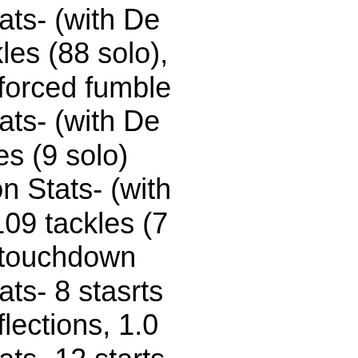2015 Season Stats- (with De... played, 129 tackles (88 solo),... interceptions, 3 forced fumble... 2014 Season Stats- (with De... played, 11 tackles (9 solo) $$$ 2015 Season Stats- (with... games played, 109 tackles (7... interceptions, 1 touchdown 2016 Season Stats- 8 stasrts... solo), 4 pass deflections, 1.0 2017 Season Stats- 12 starts... solo), 5 pass deflections, 2.0